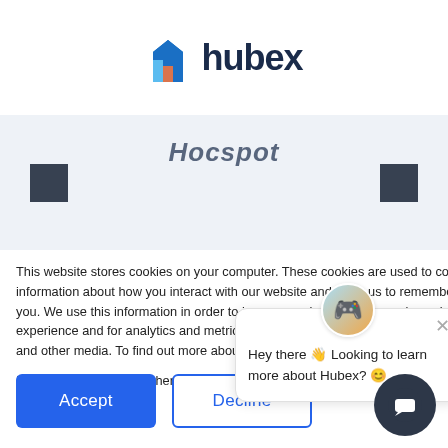[Figure (logo): Hubex logo with blue geometric house icon and dark navy 'hubex' text]
[Figure (screenshot): Partial screenshot showing HubSpot logo area with dark squares on left/right and an orange Diamond sponsor banner]
This website stores cookies on your computer. These cookies are used to collect information about how you interact with our website and allow us to remember you. We use this information in order to improve and customize your browsing experience and for analytics and metrics about our visitors both on this website and other media. To find out more about the cookies we use, see our Privacy Policy
If you decline, your information won't be tracked when you visit this website. A single cookie will be used in your browser to remember your preference not to be tracked.
[Figure (screenshot): Chat popup widget with avatar emoji showing 'Hey there 👋 Looking to learn more about Hubex? 😊' message and X close button]
Accept
Decline